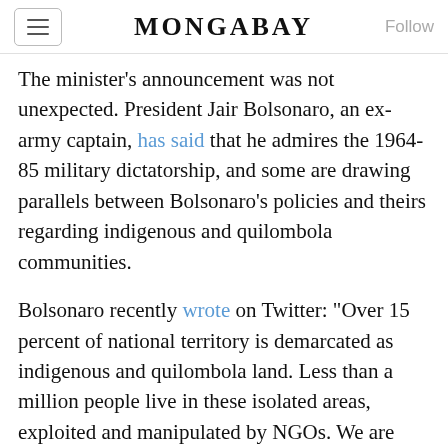MONGABAY
The minister's announcement was not unexpected. President Jair Bolsonaro, an ex-army captain, has said that he admires the 1964-85 military dictatorship, and some are drawing parallels between Bolsonaro's policies and theirs regarding indigenous and quilombola communities.
Bolsonaro recently wrote on Twitter: “Over 15 percent of national territory is demarcated as indigenous and quilombola land. Less than a million people live in these isolated areas, exploited and manipulated by NGOs. We are going to integrate these